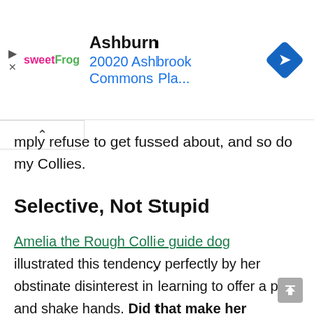[Figure (other): Advertisement banner for sweetFrog showing location 'Ashburn, 20020 Ashbrook Commons Pla...' with navigation arrow icon]
mply refuse to get fussed about, and so do my Collies.
Selective, Not Stupid
Amelia the Rough Collie guide dog illustrated this tendency perfectly by her obstinate disinterest in learning to offer a paw and shake hands. Did that make her stupid? Of course not! Amelia was 1 of only 2 dogs in her class to graduate from